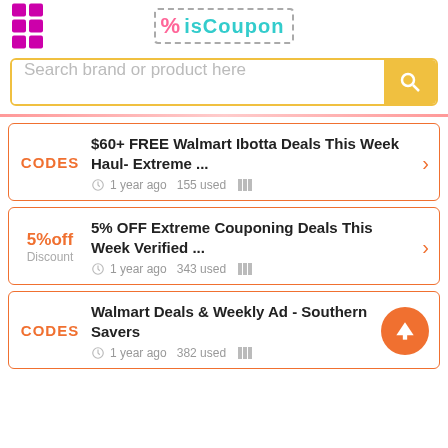[Figure (logo): isCoupon logo with dashed border percent sign and menu icon]
Search brand or product here
CODES | $60+ FREE Walmart Ibotta Deals This Week Haul- Extreme ... | 1 year ago  155 used
5%off Discount | 5% OFF Extreme Couponing Deals This Week Verified ... | 1 year ago  343 used
CODES | Walmart Deals & Weekly Ad - Southern Savers | 1 year ago  382 used